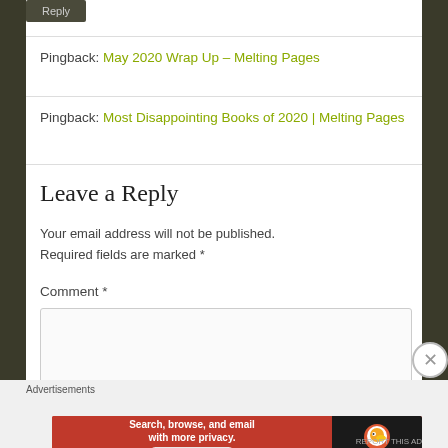[Figure (screenshot): Reply button at top of page, dark background]
Pingback: May 2020 Wrap Up – Melting Pages
Pingback: Most Disappointing Books of 2020 | Melting Pages
Leave a Reply
Your email address will not be published. Required fields are marked *
Comment *
[Figure (screenshot): Comment text input box, empty]
Advertisements
[Figure (screenshot): DuckDuckGo advertisement banner: Search, browse, and email with more privacy. All in One Free App]